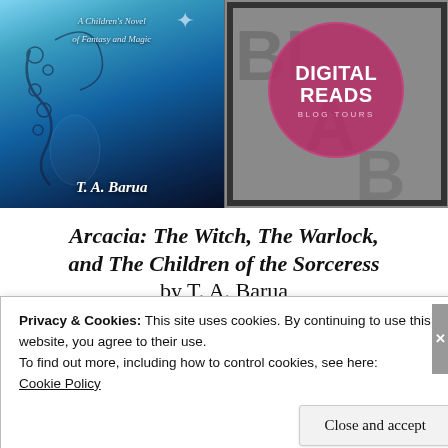[Figure (photo): Book cover for Arcacia by T.A. Barua — a fantasy children's novel with blue icy background and decorative swirls]
[Figure (logo): Digital Reads Blog Tours logo — pink circle with white text on grey letterpress background]
Arcacia: The Witch, The Warlock, and The Children of the Sorceress by T. A. Barua
Privacy & Cookies: This site uses cookies. By continuing to use this website, you agree to their use.
To find out more, including how to control cookies, see here: Cookie Policy
Close and accept